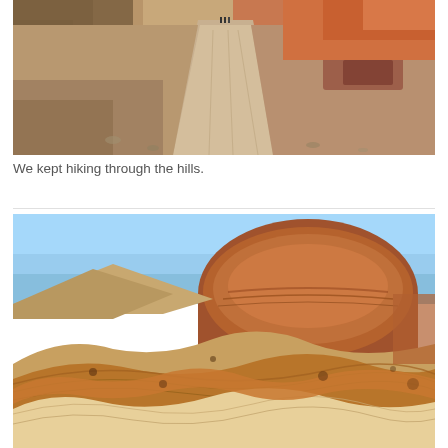[Figure (photo): Aerial-perspective photo of a wide dirt path/road cutting through colorful red and ochre desert hills. Two small figures are visible in the distance at the top center of the path. Rocky terrain and layered sedimentary hills flank both sides.]
We kept hiking through the hills.
[Figure (photo): Close-up photo of dramatic layered colorful desert hills (Zhangye Danxia-style landform) under a clear blue sky. The hills show horizontal striations of orange, red, tan, and cream colors. A prominent rounded red-brown dome hill dominates the center-right background.]